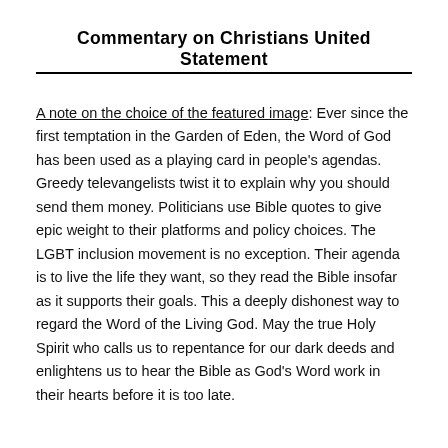Commentary on Christians United Statement
A note on the choice of the featured image: Ever since the first temptation in the Garden of Eden, the Word of God has been used as a playing card in people's agendas.  Greedy televangelists twist it to explain why you should send them money.  Politicians use Bible quotes to give epic weight to their platforms and policy choices.  The LGBT inclusion movement is no exception.  Their agenda is to live the life they want, so they read the Bible insofar as it supports their goals.  This a deeply dishonest way to regard the Word of the Living God.  May the true Holy Spirit who calls us to repentance for our dark deeds and enlightens us to hear the Bible as God's Word work in their hearts before it is too late.